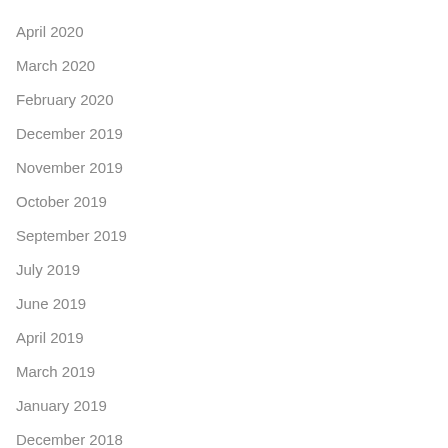April 2020
March 2020
February 2020
December 2019
November 2019
October 2019
September 2019
July 2019
June 2019
April 2019
March 2019
January 2019
December 2018
November 2018
October 2018
May 2018